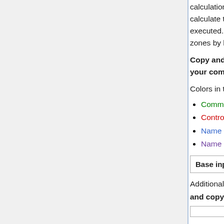calculation, except that we do not use the set mcvol card to calculate the depletion zone volumes each time Serpent is executed. Instead we'll define the volumes of the depletion zones by hand with the set mvol card.
Copy and paste the input below to a file named base on your computer.
Colors in the input correspond to:
Comments
Control words
Name definitions
Name references
| Base input for group constant generation |
| --- |
Additionally, you will need to create a file named base.mvol and copy the following contents to the file